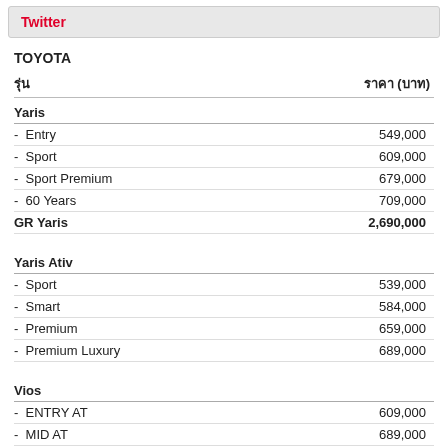Twitter
TOYOTA
| รุ่น | ราคา (บาท) |
| --- | --- |
| Yaris |  |
| - Entry | 549,000 |
| - Sport | 609,000 |
| - Sport Premium | 679,000 |
| - 60 Years | 709,000 |
| GR Yaris | 2,690,000 |
| Yaris Ativ |  |
| - Sport | 539,000 |
| - Smart | 584,000 |
| - Premium | 659,000 |
| - Premium Luxury | 689,000 |
| Vios |  |
| - ENTRY AT | 609,000 |
| - MID AT | 689,000 |